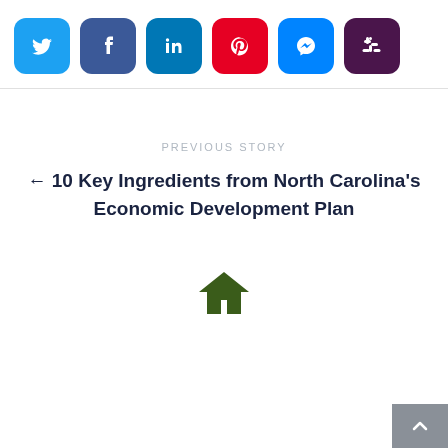[Figure (other): Row of social media share buttons: Twitter (blue), Facebook (dark blue), LinkedIn (teal), Pinterest (red), Messenger (blue), Slack (dark purple)]
PREVIOUS STORY
← 10 Key Ingredients from North Carolina's Economic Development Plan
[Figure (illustration): Dark green house/home icon]
[Figure (other): Scroll-to-top button (grey square with upward chevron arrow)]